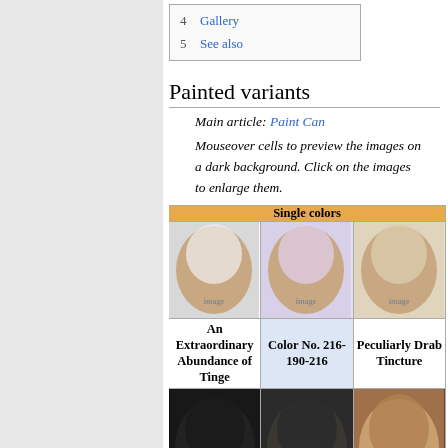4  Gallery
5  See also
Painted variants
Main article: Paint Can
Mouseover cells to preview the images on a dark background. Click on the images to enlarge them.
| Single colors |
| --- |
| An Extraordinary Abundance of Tinge | Color No. 216-190-216 | Peculiarly Drab Tincture |
| (image) | (image) | (image) |